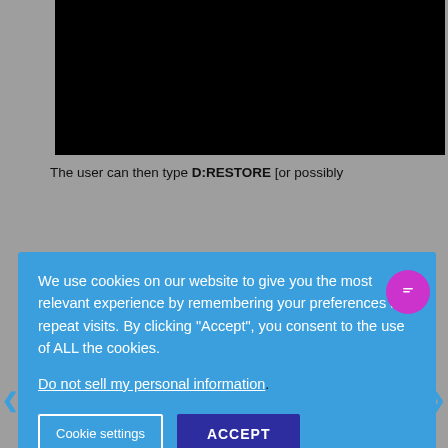[Figure (screenshot): Black video/image area at top of page]
The user can then type D:RESTORE [or possibly E:RESTORE depending on something]
[Figure (screenshot): Cookie consent overlay dialog with blue background, text about cookies, a 'Do not sell my personal information' link, 'Cookie settings' button, and 'ACCEPT' button. A purple chat icon is visible in the upper right.]
[Figure (screenshot): Terminal/command prompt window showing DOS-style text about BACKUP.WIM and Windows restore process]